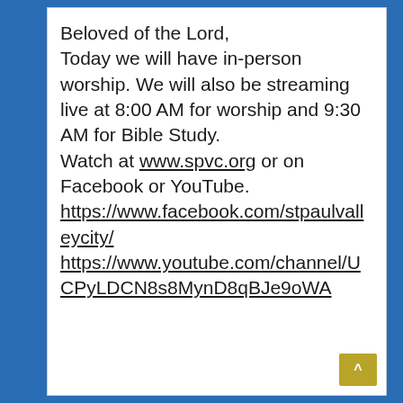Beloved of the Lord,
Today we will have in-person worship. We will also be streaming live at 8:00 AM for worship and 9:30 AM for Bible Study.
Watch at www.spvc.org or on Facebook or YouTube.
https://www.facebook.com/stpaulvalleycity/
https://www.youtube.com/channel/UCPyLDCN8s8MynD8qBJe9oWA